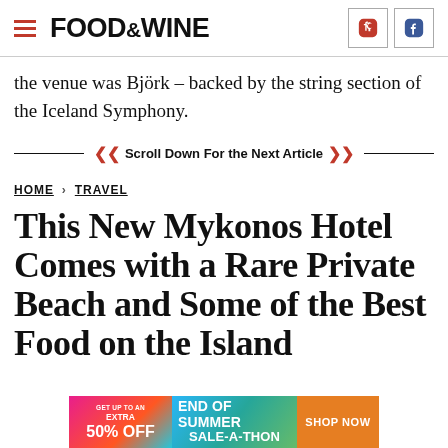FOOD & WINE
the venue was Björk – backed by the string section of the Iceland Symphony.
Scroll Down For the Next Article
HOME > TRAVEL
This New Mykonos Hotel Comes with a Rare Private Beach and Some of the Best Food on the Island
[Figure (other): Advertisement banner: GET UP TO AN EXTRA 50% OFF / END OF SUMMER SALE-A-THON / SHOP NOW]